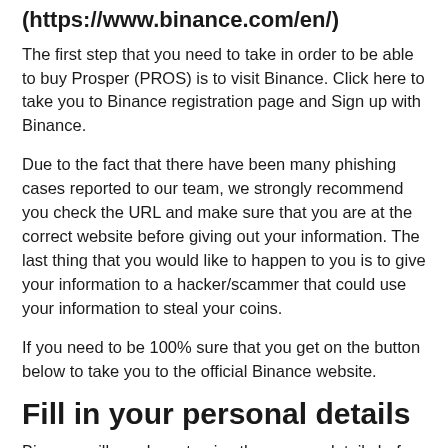(https://www.binance.com/en/)
The first step that you need to take in order to be able to buy Prosper (PROS) is to visit Binance. Click here to take you to Binance registration page and Sign up with Binance.
Due to the fact that there have been many phishing cases reported to our team, we strongly recommend you check the URL and make sure that you are at the correct website before giving out your information. The last thing that you would like to happen to you is to give your information to a hacker/scammer that could use your information to steal your coins.
If you need to be 100% sure that you get on the button below to take you to the official Binance website.
Fill in your personal details
Binance will need you to give them some details before you get started. This information will be used in order to verify